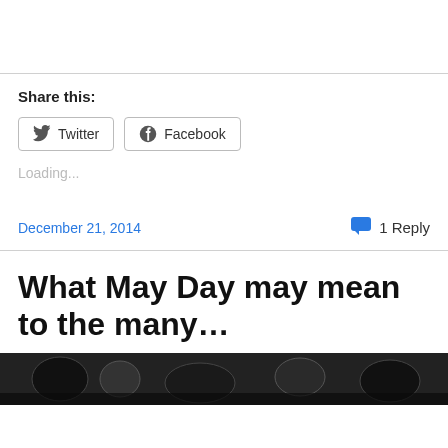Share this:
Twitter   Facebook
Loading...
December 21, 2014   1 Reply
What May Day may mean to the many...
[Figure (illustration): Black and white decorative illustration, partially visible at bottom of page]